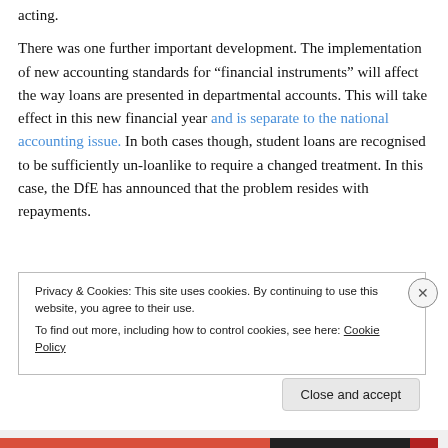acting.
There was one further important development. The implementation of new accounting standards for “financial instruments” will affect the way loans are presented in departmental accounts. This will take effect in this new financial year and is separate to the national accounting issue. In both cases though, student loans are recognised to be sufficiently un-loanlike to require a changed treatment. In this case, the DfE has announced that the problem resides with repayments.
Privacy & Cookies: This site uses cookies. By continuing to use this website, you agree to their use.
To find out more, including how to control cookies, see here: Cookie Policy
Close and accept